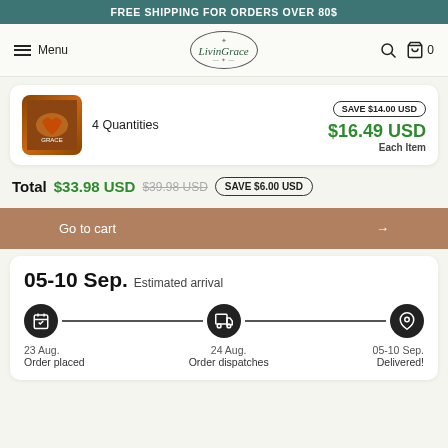FREE SHIPPING FOR ORDERS OVER 80$
Menu | LivinGrace | 0
4 Quantities | SAVE $14.00 USD | $16.49 USD | Each Item
Total $33.98 USD $39.98 USD SAVE $6.00 USD
Go to cart →
05-10 Sep. Estimated arrival
23 Aug. Order placed | 24 Aug. Order dispatches | 05-10 Sep. Delivered!